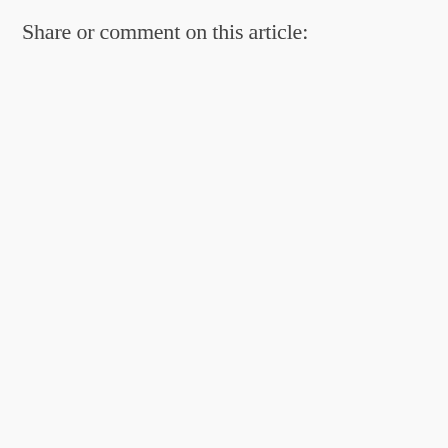Share or comment on this article: